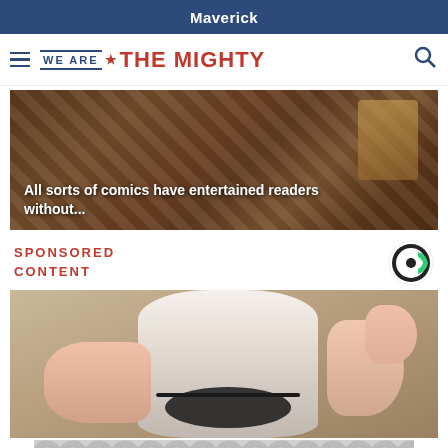Maverick
[Figure (logo): We Are The Mighty website logo with hamburger menu and search icon]
[Figure (photo): Comics image with text overlay: All sorts of comics have entertained readers without...]
SPONSORED CONTENT
[Figure (logo): Sponsored content C logo (green and black)]
[Figure (photo): Hand holding a white bottle/device product photo]
[Figure (other): Advertisement banner with repeating circular pattern]